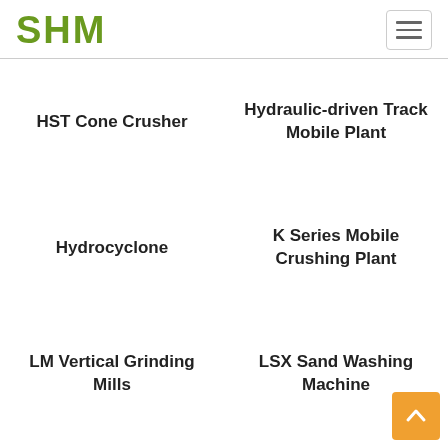SHM
HST Cone Crusher
Hydraulic-driven Track Mobile Plant
Hydrocyclone
K Series Mobile Crushing Plant
LM Vertical Grinding Mills
LSX Sand Washing Machine
LUM Ultrafine Vertical
Magnetic Separati…